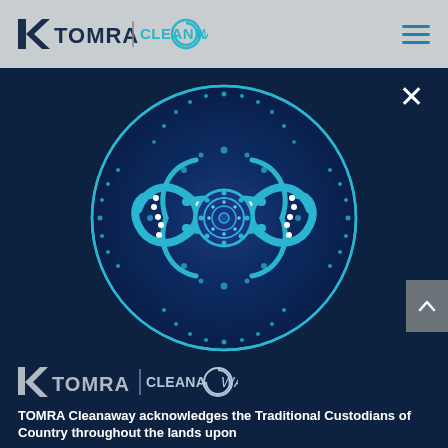[Figure (logo): TOMRA and Cleanaway logos in navigation bar on grey background]
[Figure (illustration): Circular Indigenous Australian art design with blue, teal and green patterns on dark navy background with close (X) button]
[Figure (logo): TOMRA and Cleanaway logos in white/light on dark navy background]
TOMRA Cleanaway acknowledges the Traditional Custodians of Country throughout the lands upon